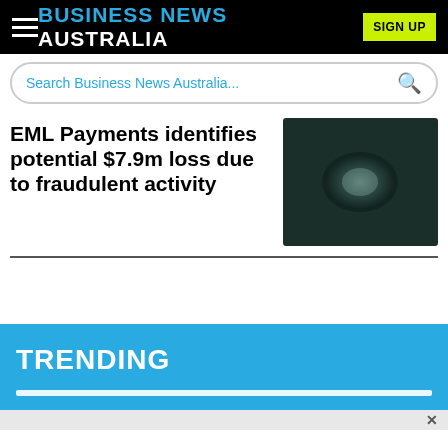BUSINESS NEWS AUSTRALIA
Search Business News Australia...
EML Payments identifies potential $7.9m loss due to fraudulent activity
[Figure (photo): Dark greenish-teal abstract photograph, possibly a dimly lit object or scene]
TRENDING